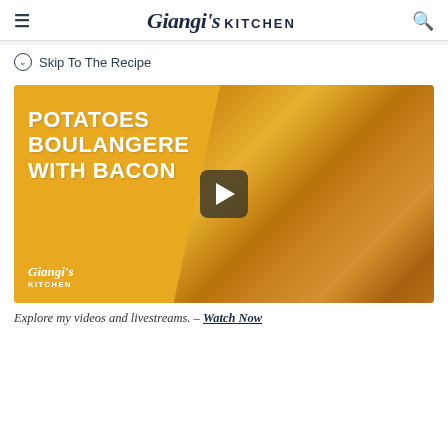Giangi's KITCHEN
Skip To The Recipe
[Figure (screenshot): Video thumbnail for 'Potatoes Boulangere With Bacon' on Giangi's Kitchen. Left side has a golden/yellow background with white bold text reading 'POTATOES BOULANGERE WITH BACON' and the Giangi's Kitchen logo at bottom left. Right side shows a photo of roasted potato wedges with bacon in a cast iron pan. A dark play button is centered on the thumbnail.]
Explore my videos and livestreams. – Watch Now